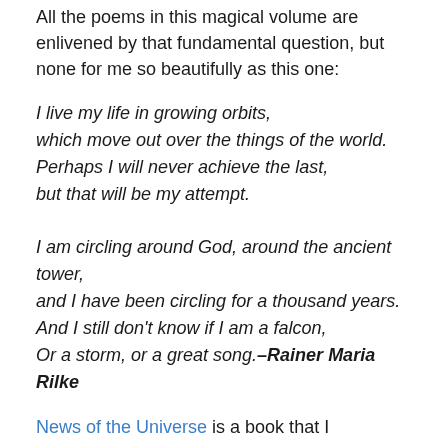All the poems in this magical volume are enlivened by that fundamental question, but none for me so beautifully as this one:
I live my life in growing orbits,
which move out over the things of the world.
Perhaps I will never achieve the last,
but that will be my attempt.

I am circling around God, around the ancient tower,
and I have been circling for a thousand years.
And I still don't know if I am a falcon,
Or a storm, or a great song.–Rainer Maria Rilke
News of the Universe is a book that I recommend to anyone who wishes not just to think in a new way about the mystery of being but also to sense and feel it directly.
Copyright 2003 by Parabola Is This a Real? All rights